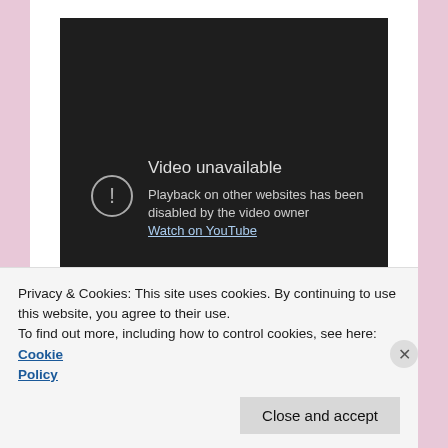[Figure (screenshot): Embedded YouTube video player showing 'Video unavailable' error with message: 'Playback on other websites has been disabled by the video owner' and a 'Watch on YouTube' link. Dark background with circular warning icon.]
Privacy & Cookies: This site uses cookies. By continuing to use this website, you agree to their use.
To find out more, including how to control cookies, see here: Cookie Policy
Close and accept